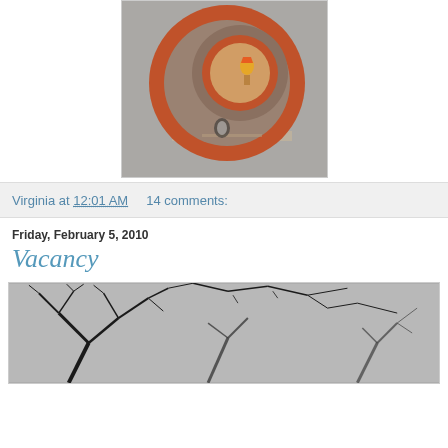[Figure (photo): A circular orange-framed mirror reflecting a room interior with a lamp, nested inside a larger circular mirror composition, set against a grey wall]
Virginia at 12:01 AM    14 comments:
Friday, February 5, 2010
Vacancy
[Figure (photo): Black and white photograph of bare winter tree branches against a grey sky]